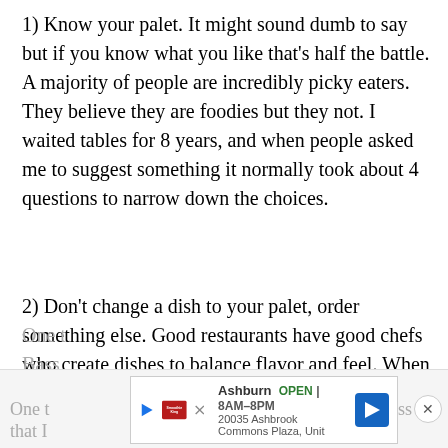1) Know your palet. It might sound dumb to say but if you know what you like that's half the battle. A majority of people are incredibly picky eaters. They believe they are foodies but they not. I waited tables for 8 years, and when people asked me to suggest something it normally took about 4 questions to narrow down the choices.
2) Don't change a dish to your palet, order something else. Good restaurants have good chefs who create dishes to balance flavor and feel. When you start substituting, you open yourself up for disappointment.
One t... Bass that I...